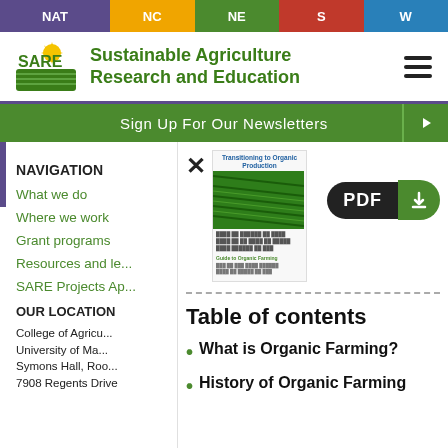NAT | NC | NE | S | W
[Figure (logo): SARE - Sustainable Agriculture Research and Education logo with sun and field graphic]
Sign Up For Our Newsletters
NAVIGATION
What we do
Where we work
Grant programs
Resources and le...
SARE Projects Ap...
OUR LOCATION
College of Agricu...
University of Ma...
Symons Hall, Roo...
7908 Regents Drive
[Figure (screenshot): Popup overlay showing book cover thumbnail for 'Transitioning to Organic Production' with PDF download button]
Table of contents
What is Organic Farming?
History of Organic Farming